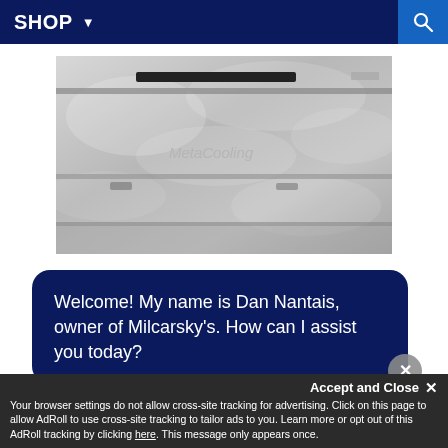SHOP ▾
[Figure (photo): Close-up photo of a refrigerator interior showing metal shelving with 'MetaCooling' branding text, stainless steel finish with frost/cloud-like effect]
Welcome! My name is Dan Nantais, owner of Milcarsky's. How can I assist you today?
c consistent temperature throughout the
Accept and Close ✕
Your browser settings do not allow cross-site tracking for advertising. Click on this page to allow AdRoll to use cross-site tracking to tailor ads to you. Learn more or opt out of this AdRoll tracking by clicking here. This message only appears once.